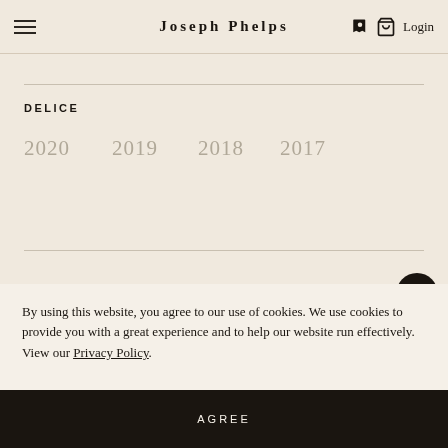Joseph Phelps | Login
DELICE
2020
2019
2018
2017
By using this website, you agree to our use of cookies. We use cookies to provide you with a great experience and to help our website run effectively. View our Privacy Policy.
AGREE